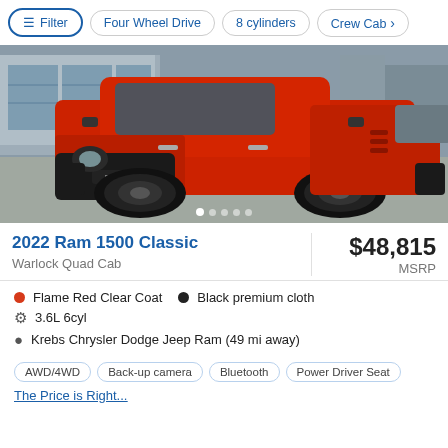Filter | Four Wheel Drive | 8 cylinders | Crew Cab
[Figure (photo): Red 2022 Ram 1500 Classic Warlock Quad Cab pickup truck parked in a dealership lot, front three-quarter view showing RAM grille badge, with a dealership building in the background.]
2022 Ram 1500 Classic
Warlock Quad Cab
$48,815 MSRP
Flame Red Clear Coat   Black premium cloth
3.6L 6cyl
Krebs Chrysler Dodge Jeep Ram (49 mi away)
AWD/4WD  Back-up camera  Bluetooth  Power Driver Seat